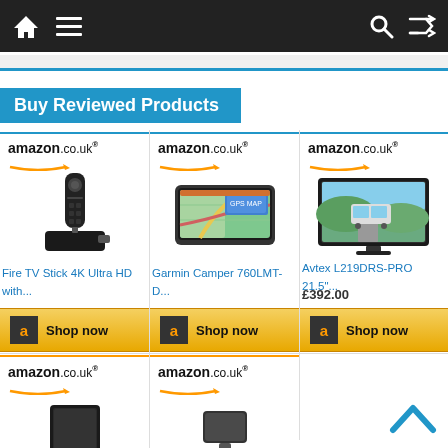Navigation bar with home, menu, search, shuffle icons
Buy Reviewed Products
[Figure (screenshot): Amazon.co.uk logo with orange arrow]
[Figure (photo): Fire TV Stick 4K product image]
Fire TV Stick 4K Ultra HD with...
[Figure (screenshot): Amazon.co.uk logo with orange arrow]
[Figure (photo): Garmin Camper 760LMT-D GPS device]
Garmin Camper 760LMT-D...
[Figure (screenshot): Amazon.co.uk logo with orange arrow]
[Figure (photo): Avtex L219DRS-PRO 21.5 inch TV]
Avtex L219DRS-PRO 21.5"...
£392.00
[Figure (screenshot): Amazon Shop now button 1]
[Figure (screenshot): Amazon Shop now button 2]
[Figure (screenshot): Amazon Shop now button 3]
[Figure (screenshot): Amazon.co.uk logo bottom row 1]
[Figure (screenshot): Amazon.co.uk logo bottom row 2]